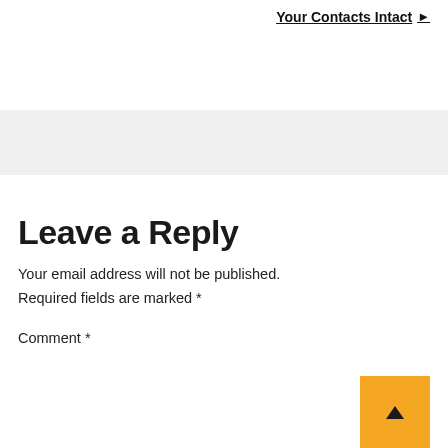Your Contacts Intact ▶
Leave a Reply
Your email address will not be published.
Required fields are marked *
Comment *